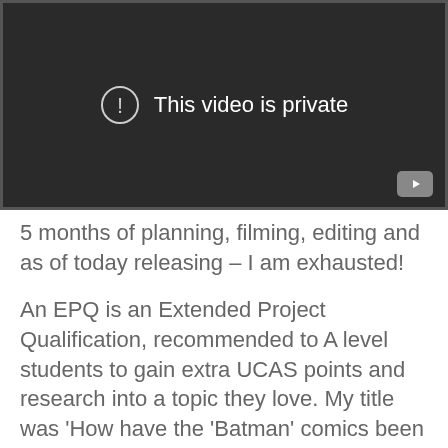[Figure (screenshot): Embedded video player showing a private video message. Dark background with a circle exclamation icon and text 'This video is private'. YouTube icon in bottom right corner.]
5 months of planning, filming, editing and as of today releasing – I am exhausted!
An EPQ is an Extended Project Qualification, recommended to A level students to gain extra UCAS points and research into a topic they love. My title was 'How have the 'Batman' comics been adapted to screen?' I wanted to focus on specifically the narrative of a Batman comic and